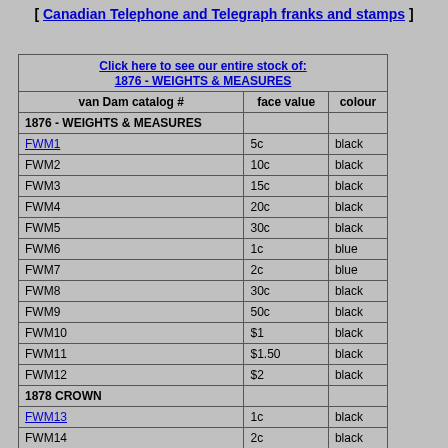[ Canadian Telephone and Telegraph franks and stamps ]
| van Dam catalog # | face value | colour |
| --- | --- | --- |
| 1876 - WEIGHTS & MEASURES |  |  |
| FWM1 | 5c | black |
| FWM2 | 10c | black |
| FWM3 | 15c | black |
| FWM4 | 20c | black |
| FWM5 | 30c | black |
| FWM6 | 1c | blue |
| FWM7 | 2c | blue |
| FWM8 | 30c | black |
| FWM9 | 50c | black |
| FWM10 | $1 | black |
| FWM11 | $1.50 | black |
| FWM12 | $2 | black |
| 1878 CROWN |  |  |
| FWM13 | 1c | black |
| FWM14 | 2c | black |
| FWM15 | 5c | black |
| FWM16 | 10c | black |